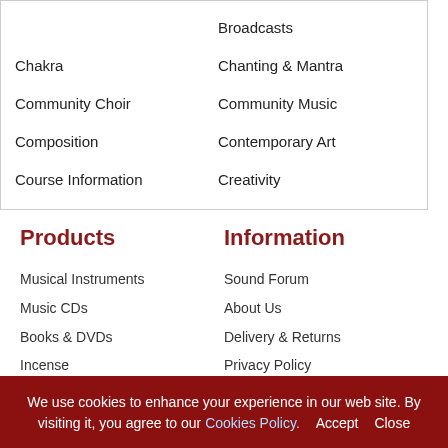Broadcasts
Chakra
Chanting & Mantra
Community Choir
Community Music
Composition
Contemporary Art
Course Information
Creativity
Products
Information
Musical Instruments
Sound Forum
Music CDs
About Us
Books & DVDs
Delivery & Returns
Incense
Privacy Policy
Esoterica
Conditions of Use
Gift Ideas
Links
We use cookies to enhance your experience in our web site. By visiting it, you agree to our Cookies Policy. Accept Close